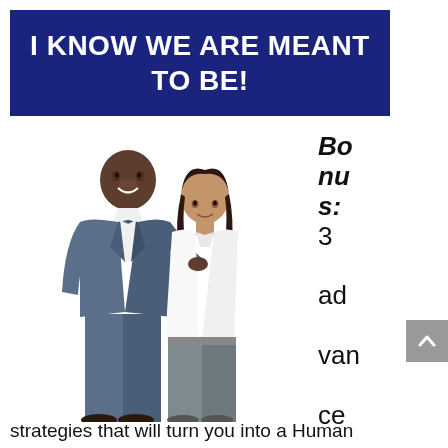I KNOW WE ARE MEANT TO BE!
[Figure (photo): A man in a blue suit and a woman in a white blouse and grey pants posing together smiling]
Bonus: 3 advanced
strategies that will turn you into a Human